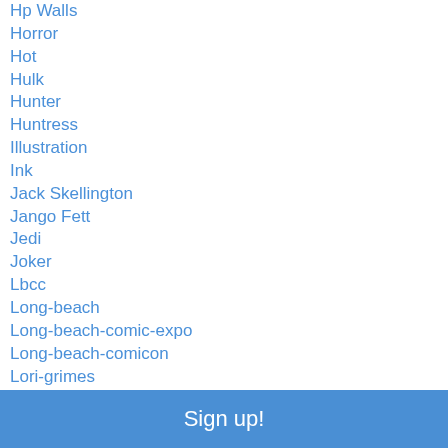Hp Walls
Horror
Hot
Hulk
Hunter
Huntress
Illustration
Ink
Jack Skellington
Jango Fett
Jedi
Joker
Lbcc
Long-beach
Long-beach-comic-expo
Long-beach-comicon
Lori-grimes
Mage
Magic
Sign up!